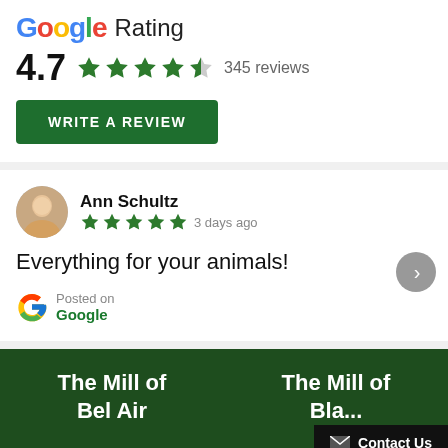Google Rating
4.7  ★★★★★  345 reviews
WRITE A REVIEW
Ann Schultz
★★★★★  3 days ago
Everything for your animals!
Posted on
Google
The Mill of
Bel Air
The Mill of
Bla...
Contact Us